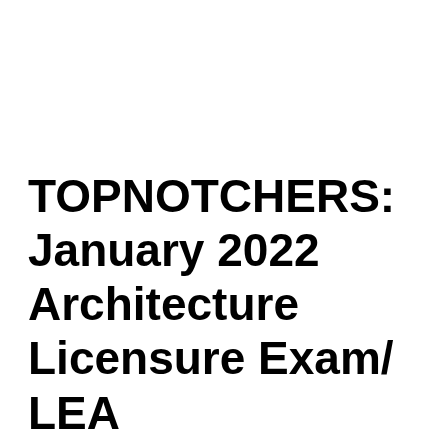TOPNOTCHERS: January 2022 Architecture Licensure Exam/ LEA